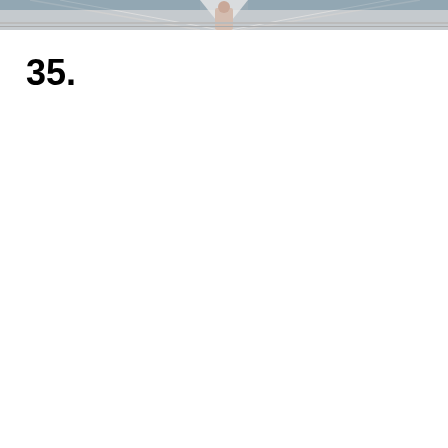[Figure (photo): Photograph showing a sailboat deck on water, with rigging/lines visible and a person in light-colored clothing standing on the deck. The image is cropped at the bottom, showing mainly the upper portion of the scene with water visible in the background.]
35.